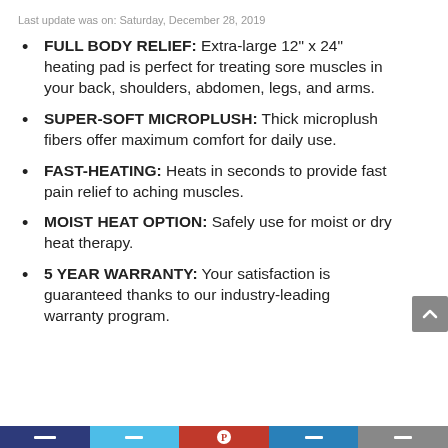Last update was on: Saturday, December 28, 2019
FULL BODY RELIEF: Extra-large 12” x 24” heating pad is perfect for treating sore muscles in your back, shoulders, abdomen, legs, and arms.
SUPER-SOFT MICROPLUSH: Thick microplush fibers offer maximum comfort for daily use.
FAST-HEATING: Heats in seconds to provide fast pain relief to aching muscles.
MOIST HEAT OPTION: Safely use for moist or dry heat therapy.
5 YEAR WARRANTY: Your satisfaction is guaranteed thanks to our industry-leading warranty program.